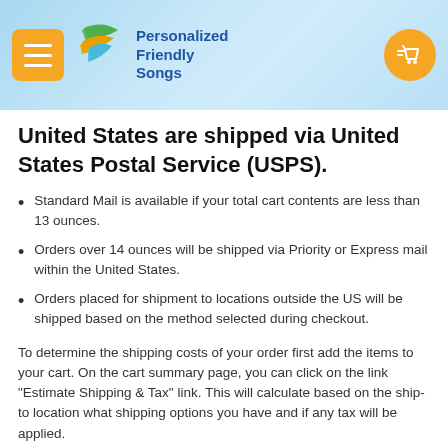[Figure (logo): Personalized Friendly Songs logo with navigation header bar, orange menu button on left, swoosh bird logo with green and orange colors, blue text brand name, orange cart icon on right, light blue gradient background]
United States are shipped via United States Postal Service (USPS).
Standard Mail is available if your total cart contents are less than 13 ounces.
Orders over 14 ounces will be shipped via Priority or Express mail within the United States.
Orders placed for shipment to locations outside the US will be shipped based on the method selected during checkout.
To determine the shipping costs of your order first add the items to your cart. On the cart summary page, you can click on the link "Estimate Shipping & Tax" link. This will calculate based on the ship-to location what shipping options you have and if any tax will be applied.